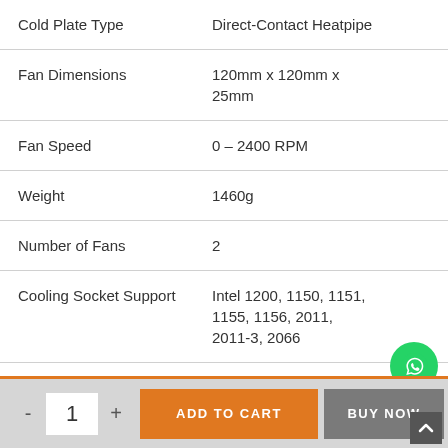| Attribute | Value |
| --- | --- |
| Cold Plate Type | Direct-Contact Heatpipe |
| Fan Dimensions | 120mm x 120mm x 25mm |
| Fan Speed | 0 – 2400 RPM |
| Weight | 1460g |
| Number of Fans | 2 |
| Cooling Socket Support | Intel 1200, 1150, 1151, 1155, 1156, 2011, 2011-3, 2066 |